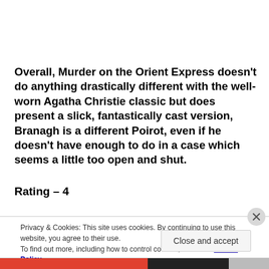Overall, Murder on the Orient Express doesn't do anything drastically different with the well-worn Agatha Christie classic but does present a slick, fantastically cast version, Branagh is a different Poirot, even if he doesn't have enough to do in a case which seems a little too open and shut.
Rating – 4
Privacy & Cookies: This site uses cookies. By continuing to use this website, you agree to their use. To find out more, including how to control cookies, see here: Cookie Policy
Close and accept